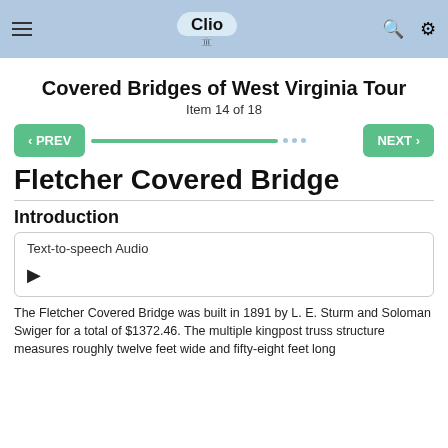Clio [app header with hamburger menu, logo, search and settings icons]
Covered Bridges of West Virginia Tour
Item 14 of 18
< PREV  [progress bar]  NEXT >
Fletcher Covered Bridge
Introduction
Text-to-speech Audio
The Fletcher Covered Bridge was built in 1891 by L. E. Sturm and Soloman Swiger for a total of $1372.46. The multiple kingpost truss structure measures roughly twelve feet wide and fifty-eight feet long